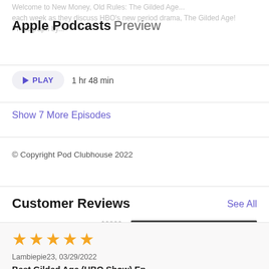Welcome to New Money, Old Rules: The Gilded Age... each week as they discuss HBO's new period drama, The Gilded Age! Photograph by...
Apple Podcasts Preview
▶ PLAY   1 hr 48 min
Show 7 More Episodes
© Copyright Pod Clubhouse 2022
Customer Reviews
See All
4.7 out of 5
66 Ratings
[Figure (bar-chart): Star rating distribution]
★★★★★
Lambiepie23, 03/29/2022
Best Gilded Age (HBO Show) Ep...